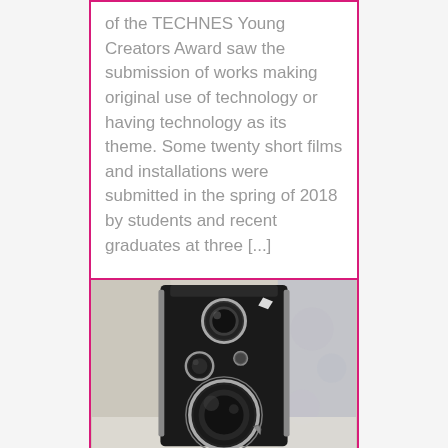of the TECHNES Young Creators Award saw the submission of works making original use of technology or having technology as its theme. Some twenty short films and installations were submitted in the spring of 2018 by students and recent graduates at three [...]
[Figure (photo): Close-up photograph of a vintage twin-lens reflex film camera viewed from the front, showing two circular lenses and a smaller viewfinder lens, with blurred background]